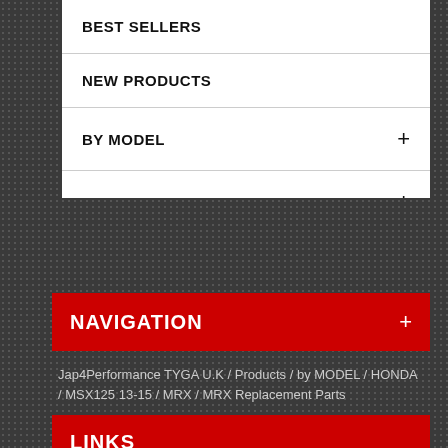BEST SELLERS
NEW PRODUCTS
by MODEL +
by PRODUCT +
NAVIGATION +
Jap4Performance TYGA U.K / Products / by MODEL / HONDA / MSX125 13-15 / MRX / MRX Replacement Parts
LINKS